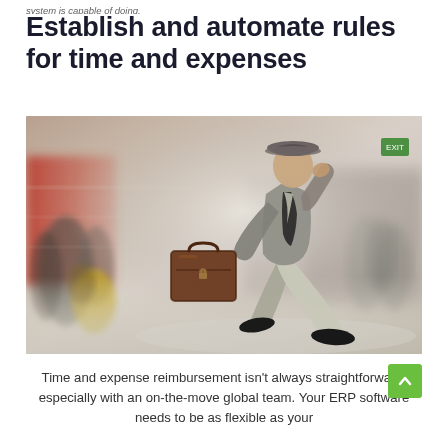system is capable of doing.
Establish and automate rules for time and expenses
[Figure (photo): A businessman in a hat and suit jacket running through a busy, blurred airport or public space, carrying a brown leather briefcase, with motion blur conveying speed and urgency.]
Time and expense reimbursement isn't always straightforward, especially with an on-the-move global team. Your ERP software needs to be as flexible as your